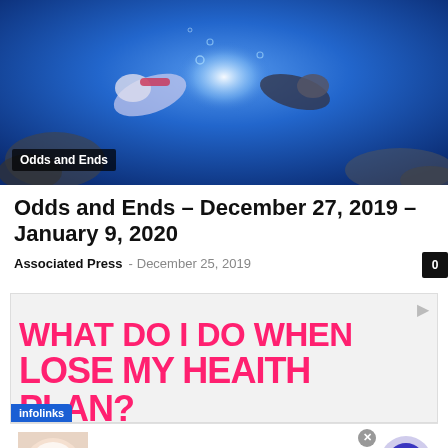[Figure (photo): Underwater scene with scuba divers, blue water background with rocks visible]
Odds and Ends
Odds and Ends – December 27, 2019 – January 9, 2020
Associated Press  -  December 25, 2019
[Figure (infographic): Advertisement banner: WHAT DO I DO WHEN I LOSE MY HEALTH PLAN? in large pink/magenta text on light background. Infolinks badge in bottom left corner.]
[Figure (photo): Advertisement widget: Image of woman with face cream/mask on left; text 'Doctors Stunned: This Removes Wrinkles' in blue, 'n/a' below; purple navigation arrow button on right; X close button]